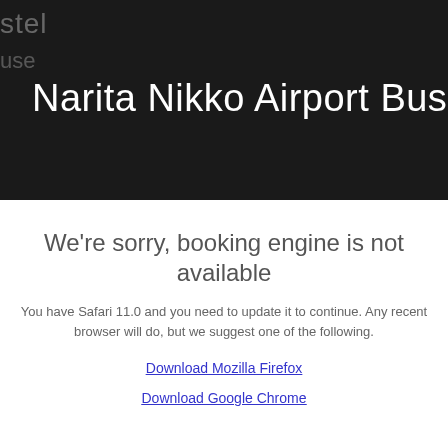Narita Nikko Airport Bus
We're sorry, booking engine is not available
You have Safari 11.0 and you need to update it to continue. Any recent browser will do, but we suggest one of the following.
Download Mozilla Firefox
Download Google Chrome